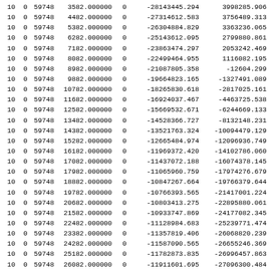| 10 | 0 | 59748 | 3582.000000 | 0 | -28143445.294 | 3998285.906 |
| 10 | 0 | 59748 | 4482.000000 | 0 | -27314612.583 | 3756489.313 |
| 10 | 0 | 59748 | 5382.000000 | 0 | -26304884.829 | 3363236.065 |
| 10 | 0 | 59748 | 6282.000000 | 0 | -25143612.095 | 2799880.861 |
| 10 | 0 | 59748 | 7182.000000 | 0 | -23863474.297 | 2053242.469 |
| 10 | 0 | 59748 | 8082.000000 | 0 | -22499464.955 | 1116082.195 |
| 10 | 0 | 59748 | 8982.000000 | 0 | -21087805.358 | -12604.299 |
| 10 | 0 | 59748 | 9882.000000 | 0 | -19664823.165 | -1327491.089 |
| 10 | 0 | 59748 | 10782.000000 | 0 | -18265830.618 | -2817025.161 |
| 10 | 0 | 59748 | 11682.000000 | 0 | -16924037.467 | -4463725.538 |
| 10 | 0 | 59748 | 12582.000000 | 0 | -15669532.671 | -6244669.133 |
| 10 | 0 | 59748 | 13482.000000 | 0 | -14528366.727 | -8132148.231 |
| 10 | 0 | 59748 | 14382.000000 | 0 | -13521763.324 | -10094479.129 |
| 10 | 0 | 59748 | 15282.000000 | 0 | -12665484.974 | -12096936.749 |
| 10 | 0 | 59748 | 16182.000000 | 0 | -11969372.420 | -14102786.060 |
| 10 | 0 | 59748 | 17082.000000 | 0 | -11437072.188 | -16074378.145 |
| 10 | 0 | 59748 | 17982.000000 | 0 | -11065960.759 | -17974276.679 |
| 10 | 0 | 59748 | 18882.000000 | 0 | -10847267.664 | -19766379.644 |
| 10 | 0 | 59748 | 19782.000000 | 0 | -10766393.565 | -21417001.224 |
| 10 | 0 | 59748 | 20682.000000 | 0 | -10803413.275 | -22895880.061 |
| 10 | 0 | 59748 | 21582.000000 | 0 | -10933747.869 | -24177082.345 |
| 10 | 0 | 59748 | 22482.000000 | 0 | -11128984.683 | -25239771.474 |
| 10 | 0 | 59748 | 23382.000000 | 0 | -11357819.406 | -26068820.239 |
| 10 | 0 | 59748 | 24282.000000 | 0 | -11587090.565 | -26655246.369 |
| 10 | 0 | 59748 | 25182.000000 | 0 | -11782873.835 | -26996457.863 |
| 10 | 0 | 59748 | 26082.000000 | 0 | -11911601.695 | -27096300.484 |
| 10 | 0 | 59748 | 26982.000000 | 0 | -11941173.181 | -26964906.014 |